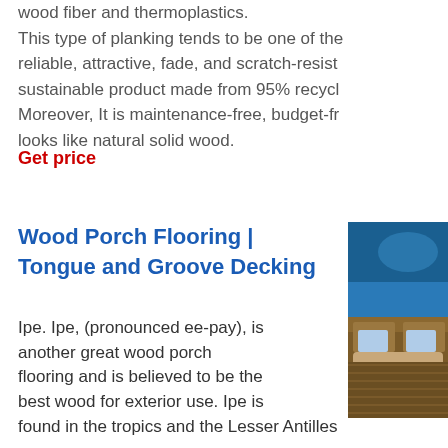wood fiber and thermoplastics. This type of planking tends to be one of the reliable, attractive, fade, and scratch-resist sustainable product made from 95% recycl Moreover, It is maintenance-free, budget-fr looks like natural solid wood.
Get price
Wood Porch Flooring | Tongue and Groove Decking
[Figure (photo): Outdoor wood porch with blue cushioned sofa furniture on decking]
Ipe. Ipe, (pronounced ee-pay), is another great wood porch flooring and is believed to be the best wood for exterior use. Ipe is found in the tropics and the Lesser Antilles